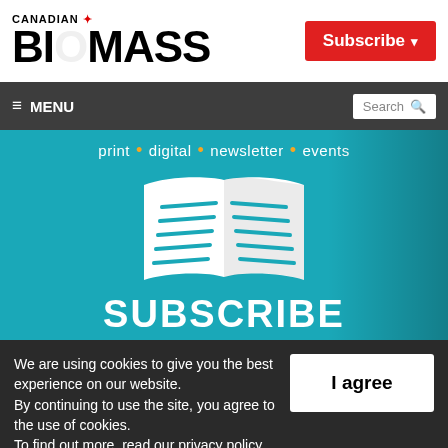CANADIAN BIOMASS
[Figure (screenshot): Subscribe button (red background) in top right corner of website header]
[Figure (screenshot): Navigation bar with hamburger MENU on left and Search box on right, dark gray background]
[Figure (illustration): Subscribe banner: teal/cyan background with open book icon, text 'print • digital • newsletter • events' and large 'SUBSCRIBE' text at bottom]
We are using cookies to give you the best experience on our website.
By continuing to use the site, you agree to the use of cookies.
To find out more, read our privacy policy.
[Figure (screenshot): 'I agree' button, white background black bold text]